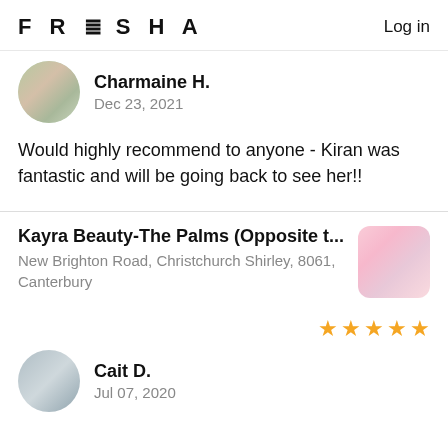FRESHA  Log in
Charmaine H.
Dec 23, 2021
Would highly recommend to anyone - Kiran was fantastic and will be going back to see her!!
Kayra Beauty-The Palms (Opposite t...
New Brighton Road, Christchurch Shirley, 8061, Canterbury
Cait D.
Jul 07, 2020